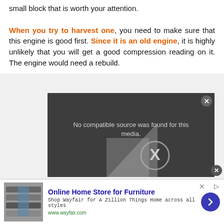small block that is worth your attention. When you try to harvest one, you need to make sure that this engine is good first. Since it is an old engine, it is highly unlikely that you will get a good compression reading on it. The engine would need a rebuild.
[Figure (screenshot): Video player showing 'No compatible source was found for this media.' message with a large X icon overlay and a triangle/arrow shape, on a dark gravel background.]
[Figure (screenshot): Advertisement banner for Wayfair Online Home Store for Furniture with product image, blue title, description text, green URL, close button, and blue circular arrow button.]